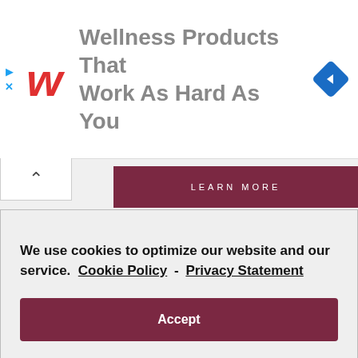[Figure (screenshot): Walgreens advertisement banner: red cursive W logo on left, bold gray text 'Wellness Products That Work As Hard As You', blue navigation diamond icon on right. Two cyan close icons (triangle and X) at far left edge.]
[Figure (screenshot): Collapsed ad chevron tab (up arrow) on left, dark red 'LEARN MORE' button bar on right]
We use cookies to optimize our website and our service.  Cookie Policy -  Privacy Statement
Accept
Email
Marketing permission: I give my consent to BHI to be